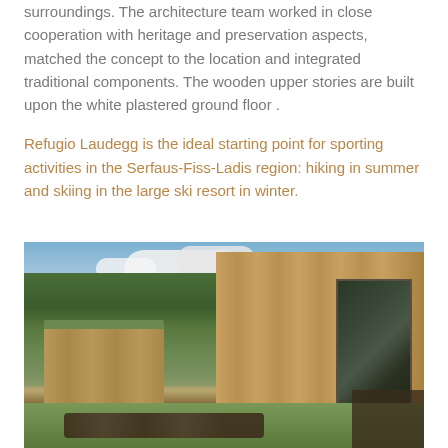surroundings. The architecture team worked in close cooperation with heritage and preservation aspects, matched the concept to the location and integrated traditional components. The wooden upper stories are built upon the white plastered ground floor .
Refugio Laudegg is the ideal starting point for sporting activities in the Serfaus-Fiss-Ladis region: hiking in summer and skiing in the large ski resort in winter.
[Figure (photo): Exterior photo of Refugio Laudegg showing wooden-clad buildings with vertical timber slats, green mountain backdrop, lawn with outdoor furniture and hot tubs in foreground, glass sliding doors on right, small building with green roof on left.]